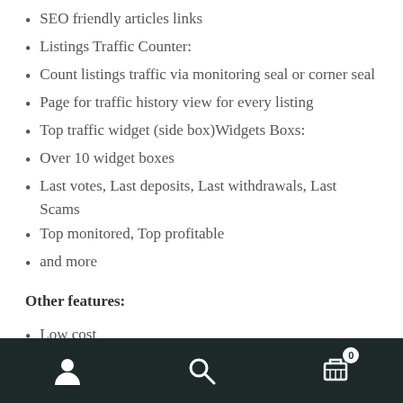SEO friendly articles links
Listings Traffic Counter:
Count listings traffic via monitoring seal or corner seal
Page for traffic history view for every listing
Top traffic widget (side box)Widgets Boxs:
Over 10 widget boxes
Last votes, Last deposits, Last withdrawals, Last Scams
Top monitored, Top profitable
and more
Other features:
Low cost